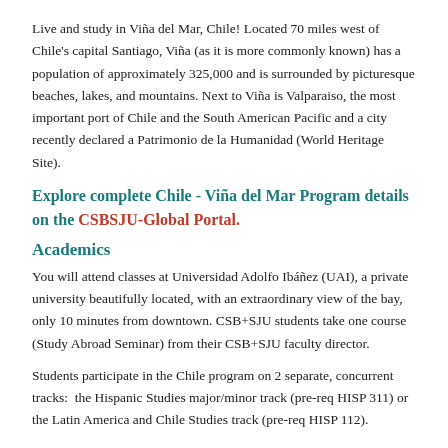Live and study in Viña del Mar, Chile! Located 70 miles west of Chile's capital Santiago, Viña (as it is more commonly known) has a population of approximately 325,000 and is surrounded by picturesque beaches, lakes, and mountains. Next to Viña is Valparaiso, the most important port of Chile and the South American Pacific and a city recently declared a Patrimonio de la Humanidad (World Heritage Site).
Explore complete Chile - Viña del Mar Program details on the CSBSJU-Global Portal.
Academics
You will attend classes at Universidad Adolfo Ibáñez (UAI), a private university beautifully located, with an extraordinary view of the bay, only 10 minutes from downtown. CSB+SJU students take one course (Study Abroad Seminar) from their CSB+SJU faculty director.
Students participate in the Chile program on 2 separate, concurrent tracks:  the Hispanic Studies major/minor track (pre-req HISP 311) or the Latin America and Chile Studies track (pre-req HISP 112).